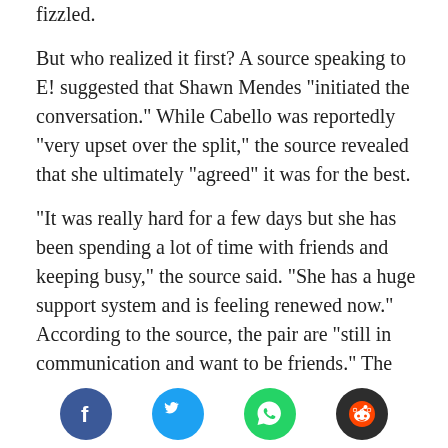fizzled.
But who realized it first? A source speaking to E! suggested that Shawn Mendes “initiated the conversation.” While Cabello was reportedly “very upset over the split,” the source revealed that she ultimately “agreed” it was for the best.
“It was really hard for a few days but she has been spending a lot of time with friends and keeping busy,” the source said. “She has a huge support system and is feeling renewed now.” According to the source, the pair are “still in communication and want to be friends.” The source told E! that it “was not a bad breakup at all.”
The source also echoed what had been told to People, adding, “The relationship was getting stale and
[Figure (infographic): Social sharing icons row: Facebook (blue circle with f), Twitter (light blue circle with bird), WhatsApp (green circle with phone icon), Reddit (dark circle with alien icon)]